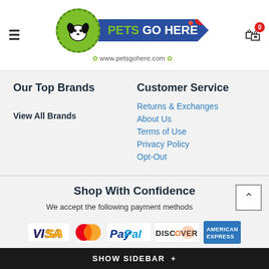[Figure (logo): Pets Go Here website logo with dog/cat icon in green circle, blue banner with site name, and URL www.petsgohere.com]
Our Top Brands
Customer Service
View All Brands
Returns & Exchanges
About Us
Terms of Use
Privacy Policy
Opt-Out
Shop With Confidence
We accept the following payment methods
[Figure (logo): Payment method logos: VISA, MasterCard, PayPal, Discover, American Express]
SHOW SIDEBAR +